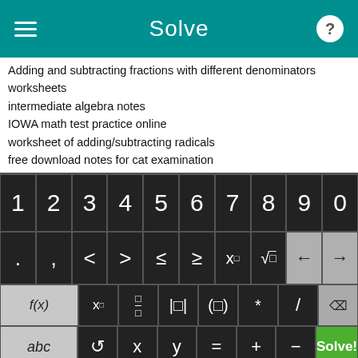Solve
Adding and subtracting fractions with different denominators worksheets
intermediate algebra notes
IOWA math test practice online
worksheet of adding/subtracting radicals
free download notes for cat examination
convert .785 to a fraction
math help for ninth grader polynomials
linear equations with one variable calculator
algebra problem solver
[Figure (screenshot): Math keyboard with digits 1-0, symbols including < > ≤ ≥ x^□ √□ and arrow keys, function keys f(x) x□ fraction absolute-value bracket * / delete, and bottom row abc ↺ x y = + - and green Solve! button]